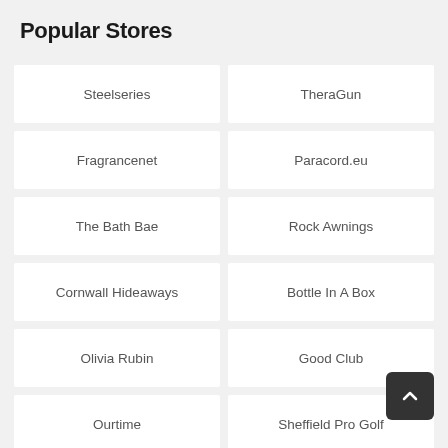Popular Stores
Steelseries
TheraGun
Fragrancenet
Paracord.eu
The Bath Bae
Rock Awnings
Cornwall Hideaways
Bottle In A Box
Olivia Rubin
Good Club
Ourtime
Sheffield Pro Golf